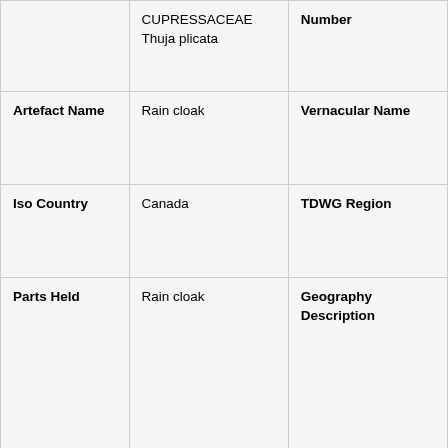|  | CUPRESSACEAE Thuja plicata | Number |
| Artefact Name | Rain cloak | Vernacular Name |
| Iso Country | Canada | TDWG Region |
| Parts Held | Rain cloak | Geography Description |
| Uses | Rain cloakUse: User: Not defined | TDWG use |